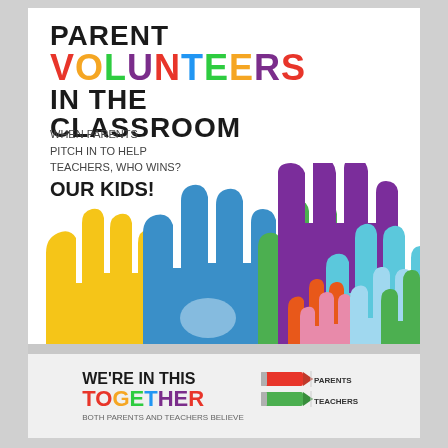PARENT VOLUNTEERS IN THE CLASSROOM
WHEN PARENTS PITCH IN TO HELP TEACHERS, WHO WINS? OUR KIDS!
[Figure (illustration): Colorful raised hands illustration in yellow, blue, green, purple, teal, orange, pink, and light blue representing diverse volunteers]
WE'RE IN THIS TOGETHER
[Figure (illustration): Pencil icons in red and green next to legend labels PARENTS and TEACHERS]
Both parents and teachers BELIEVE